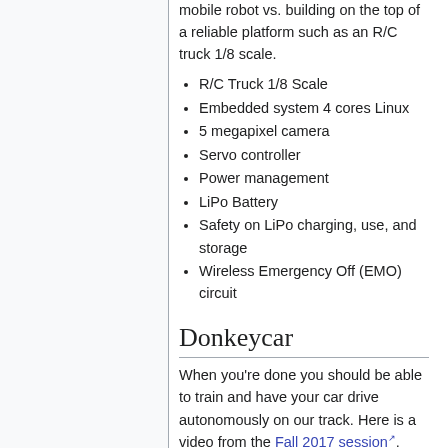mobile robot vs. building on the top of a reliable platform such as an R/C truck 1/8 scale.
R/C Truck 1/8 Scale
Embedded system 4 cores Linux
5 megapixel camera
Servo controller
Power management
LiPo Battery
Safety on LiPo charging, use, and storage
Wireless Emergency Off (EMO) circuit
Donkeycar
When you're done you should be able to train and have your car drive autonomously on our track. Here is a video from the Fall 2017 session.